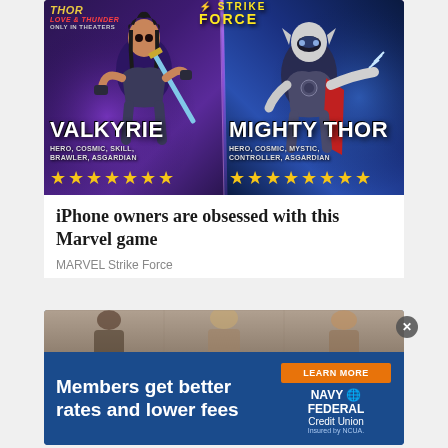[Figure (illustration): MARVEL Strike Force game advertisement showing Valkyrie and Mighty Thor characters. Valkyrie has tags: HERO, COSMIC, SKILL, BRAWLER, ASGARDIAN with 7 gold stars. Mighty Thor has tags: HERO, COSMIC, MYSTIC, CONTROLLER, ASGARDIAN with 7 gold stars. Strike Force logo at top. Thor: Love and Thunder logo at top left.]
iPhone owners are obsessed with this Marvel game
MARVEL Strike Force
[Figure (illustration): Navy Federal Credit Union advertisement with dark blue background. Shows people blurred in background strip. Text: Members get better rates and lower fees. LEARN MORE button in orange. NAVY FEDERAL Credit Union logo with globe icon. Insured by NCUA. Close X button visible.]